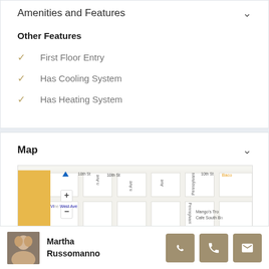Amenities and Features
Other Features
First Floor Entry
Has Cooling System
Has Heating System
Map
[Figure (map): Street map showing 10th St, Pennsylvania Ave, Vine West Ave area with Mango's Tro and Cafe South B visible]
Martha Russomanno